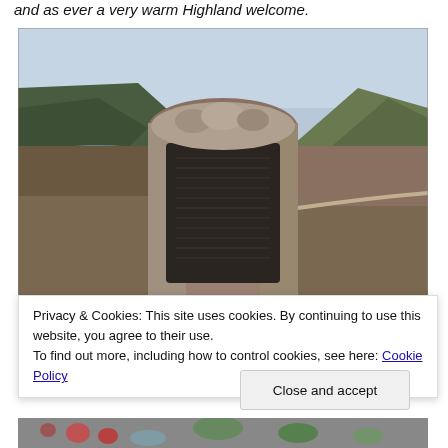and as ever a very warm Highland welcome.
[Figure (photo): A stone monument with a dark inscribed plaque, set against a Highland landscape with mountains, a loch, and a road. Rocky hills covered in heather in the background under a pale blue sky.]
Privacy & Cookies: This site uses cookies. By continuing to use this website, you agree to their use.
To find out more, including how to control cookies, see here: Cookie Policy
Close and accept
[Figure (photo): Bottom edge of another photograph showing flowers and foliage, partially visible.]